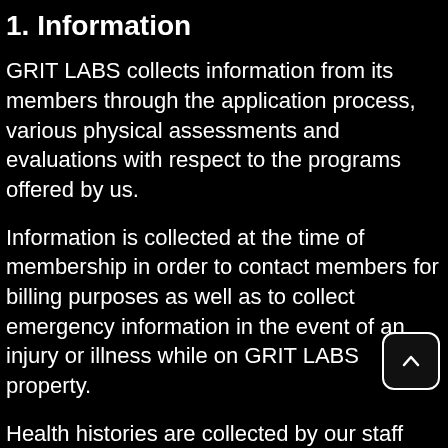1. Information
GRIT LABS collects information from its members through the application process, various physical assessments and evaluations with respect to the programs offered by us.
Information is collected at the time of membership in order to contact members for billing purposes as well as to collect emergency information in the event of an injury or illness while on GRIT LABS property.
Health histories are collected by our staff and/or trainers during physical assessments for the purpose of developing a fitness program and/or nutrition program for individual members.